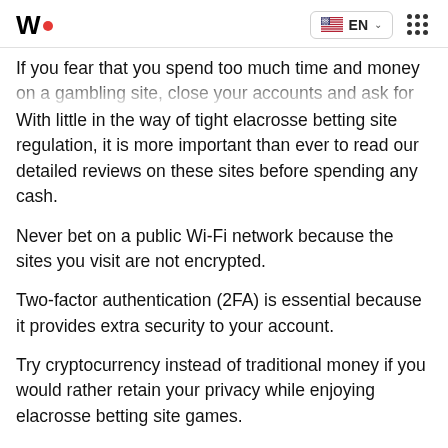W. EN :::
If you fear that you spend too much time and money on a gambling site, close your accounts and ask for help.
With little in the way of tight elacrosse betting site regulation, it is more important than ever to read our detailed reviews on these sites before spending any cash.
Never bet on a public Wi-Fi network because the sites you visit are not encrypted.
Two-factor authentication (2FA) is essential because it provides extra security to your account.
Try cryptocurrency instead of traditional money if you would rather retain your privacy while enjoying elacrosse betting site games.
Finally, don't get involved with betting sites with elacrosse while under the influence of alcohol or drugs, and don't chase your losses.